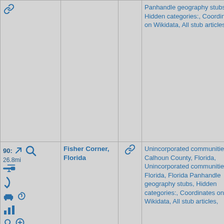| #/distance/icons | Name | Link | Categories | Image |
| --- | --- | --- | --- | --- |
| (link icon) | (various icons) | Fisher Corner, Florida | (link) | Unincorporated communities in Calhoun County, Florida, Unincorporated communities in Florida, Florida Panhandle geography stubs, Hidden categories:, Coordinates on Wikidata, All stub articles, |  |
| 91: 28mi (helicopter)(arrow)(car)(icons) | Moss Hill Church | (link) | United Methodist churches in Florida, Properties of religious... | (photo) |
Panhandle geography stubs, Hidden categories:, Coordinates on Wikidata, All stub articles,
90: 26.8mi Fisher Corner, Florida
Unincorporated communities in Calhoun County, Florida, Unincorporated communities in Florida, Florida Panhandle geography stubs, Hidden categories:, Coordinates on Wikidata, All stub articles,
91: 28mi Moss Hill Church
United Methodist churches in Florida, Properties of religious...
[Figure (photo): Exterior photo of Moss Hill Church, showing wooden structure with a gabled roof, surrounded by trees under a blue sky]